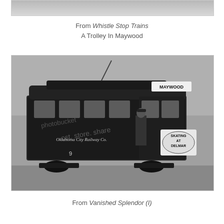[Figure (photo): Top portion of a photograph, partially cropped, showing a light-colored background, likely part of a historical image from Whistle Stop Trains.]
From Whistle Stop Trains
A Trolley In Maywood
[Figure (photo): Black and white photograph of an Oklahoma City Railway Co. trolley car number 9, with a 'MAYWOOD' destination sign on top and a 'Skating At Delmar' advertisement on the side. A uniformed conductor stands in the doorway. Watermark text overlay visible on the image.]
From Vanished Splendor (I)